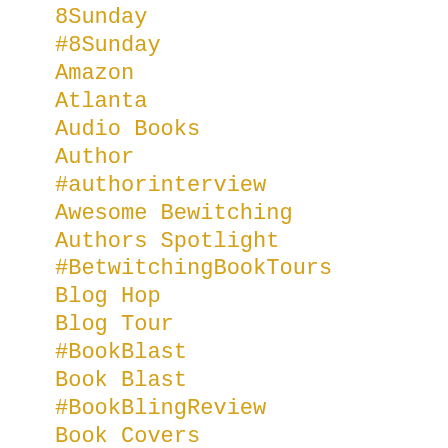8Sunday
#8Sunday
Amazon
Atlanta
Audio Books
Author
#authorinterview
Awesome Bewitching
Authors Spotlight
#BetwitchingBookTours
Blog Hop
Blog Tour
#BookBlast
Book Blast
#BookBlingReview
Book Covers
#BookHook
Booklaunch